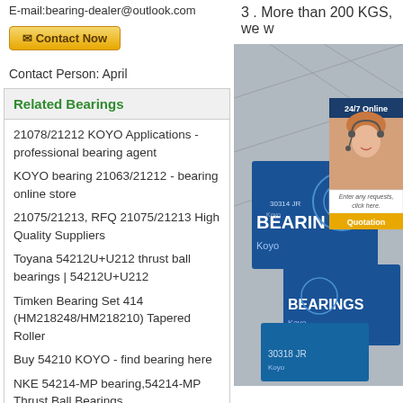E-mail:bearing-dealer@outlook.com
Contact Now
Contact Person: April
Related Bearings
21078/21212 KOYO Applications - professional bearing agent
KOYO bearing 21063/21212 - bearing online store
21075/21213, RFQ 21075/21213 High Quality Suppliers
Toyana 54212U+U212 thrust ball bearings | 54212U+U212
Timken Bearing Set 414 (HM218248/HM218210) Tapered Roller
Buy 54210 KOYO - find bearing here
NKE 54214-MP bearing,54214-MP Thrust Ball Bearings
3 . More than 200 KGS, we w
[Figure (photo): Photo of Koyo bearing boxes stacked, with a customer service representative overlay badge showing '24/7 Online', a request text, and an orange Quotation button.]